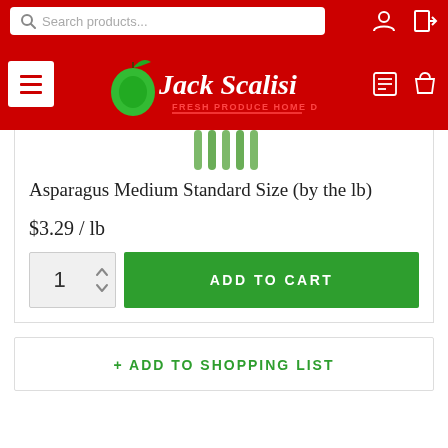Jack Scalisi Fresh Produce Home Delivery
[Figure (photo): Asparagus product image cropped at top]
Asparagus Medium Standard Size (by the lb)
$3.29 / lb
1  ADD TO CART
+ ADD TO SHOPPING LIST